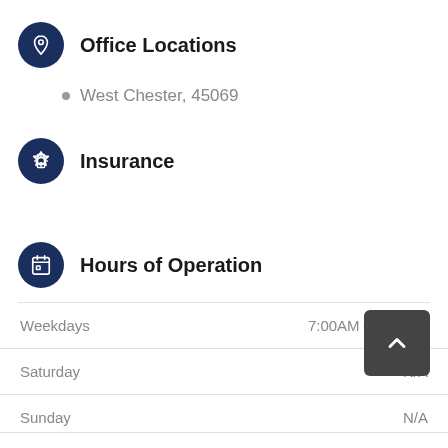Office Locations
West Chester, 45069
Insurance
Hours of Operation
|  |  |
| --- | --- |
| Weekdays | 7:00AM - 3:00PM |
| Saturday | N/A |
| Sunday | N/A |